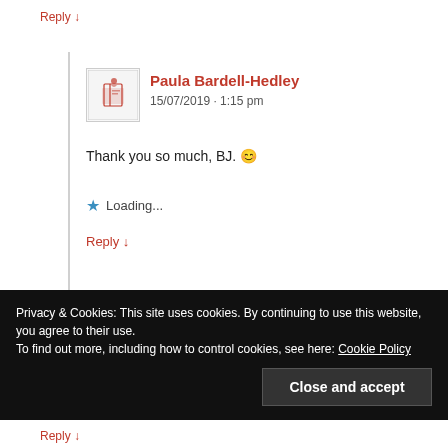Reply ↓
Paula Bardell-Hedley
15/07/2019 · 1:15 pm
Thank you so much, BJ. 😊
★ Loading...
Reply ↓
Denise Costello
15/07/2019 · 13:48 pm
Privacy & Cookies: This site uses cookies. By continuing to use this website, you agree to their use.
To find out more, including how to control cookies, see here: Cookie Policy
Close and accept
Reply ↓